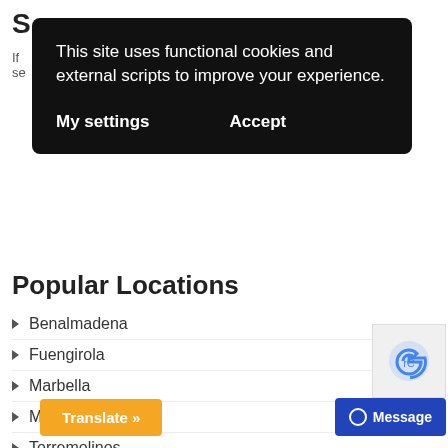S
If ... se
[Figure (screenshot): Cookie consent banner overlay with black background. Text reads: 'This site uses functional cookies and external scripts to improve your experience.' Two buttons: 'My settings' and 'Accept'.]
Popular Locations
Benalmadena
Fuengirola
Marbella
Mijas Costa
Torremolinos
Contact Info
Ad... enavente, Edificio Residencia 2 Loca...
[Figure (screenshot): Orange 'Translate »' button at bottom left]
[Figure (screenshot): Blue 'Message' button with circle icon at bottom right]